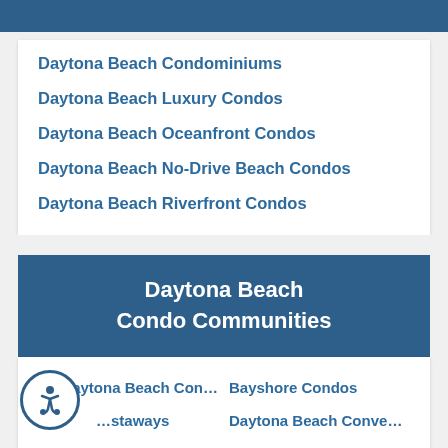Daytona Beach Condominiums
Daytona Beach Luxury Condos
Daytona Beach Oceanfront Condos
Daytona Beach No-Drive Beach Condos
Daytona Beach Riverfront Condos
Daytona Beach Condo Communities
All Daytona Beach Con…
Bayshore Condos
…staways
Daytona Beach Conve…
No Drive Daytona Bea…
Daytona Beach Resort